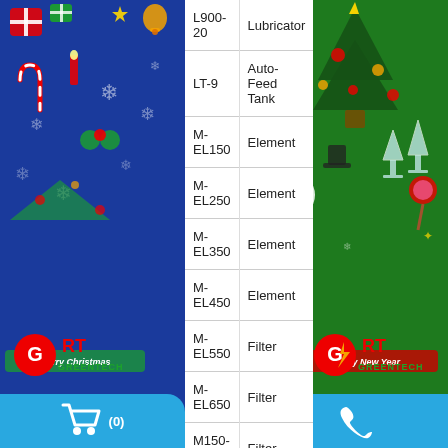[Figure (illustration): Left Christmas-themed decorative sidebar with blue background, holiday stickers, Merry Christmas text, GRT Greentech logo, technical support info (MR. NHAN, 0935 041313), and blue cart button at bottom.]
| Model | Description |
| --- | --- |
| L900-20 | Lubricator |
| LT-9 | Auto-Feed Tank |
| M-EL150 | Element |
| M-EL250 | Element |
| M-EL350 | Element |
| M-EL450 | Element |
| M-EL550 | Filter |
| M-EL650 | Filter |
| M150-02 | Filter |
| M150-N02C-T | Filter |
| M150-N02D | Filter |
[Figure (illustration): Right Christmas-themed decorative sidebar with green background, holiday stickers, Happy New Year text, GRT Greentech logo, sale support info, sales@greentechvn.com email, and blue phone button at bottom.]